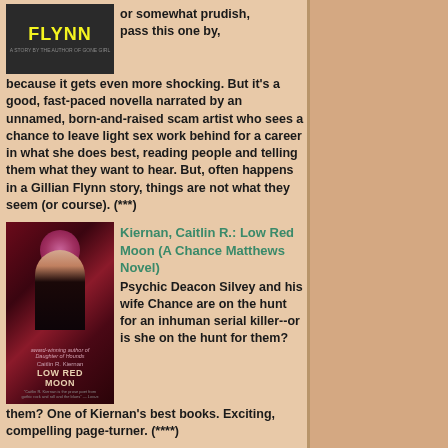[Figure (photo): Book cover for a Gillian Flynn novel, dark background with yellow FLYNN text]
or somewhat prudish, pass this one by, because it gets even more shocking. But it's a good, fast-paced novella narrated by an unnamed, born-and-raised scam artist who sees a chance to leave light sex work behind for a career in what she does best, reading people and telling them what they want to hear. But, often happens in a Gillian Flynn story, things are not what they seem (or course). (***)
[Figure (photo): Book cover for Low Red Moon by Caitlin R. Kiernan, showing a figure under a red moon]
Kiernan, Caitlin R.: Low Red Moon (A Chance Matthews Novel)
Psychic Deacon Silvey and his wife Chance are on the hunt for an inhuman serial killer--or is she on the hunt for them? One of Kiernan's best books. Exciting, compelling page-turner. (****)